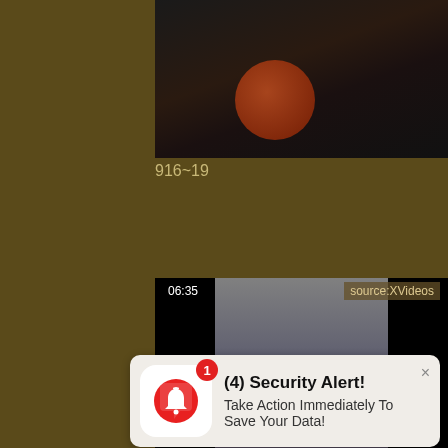[Figure (screenshot): Dark video thumbnail with orange/red circular shape, top portion of a video player]
916~19
[Figure (screenshot): Second video thumbnail showing blurred gray content with black bars on sides, duration badge 06:35 and source:XVideos label]
[Figure (screenshot): Security Alert notification popup 1: (4) Security Alert! Take Action Immediately To Save Your Data! with red bell icon and badge showing 1]
[Figure (screenshot): Security Alert notification popup 2: (4) Security Alert! Take Action Immediately To Save Your Data! with red bell icon and badge showing 1]